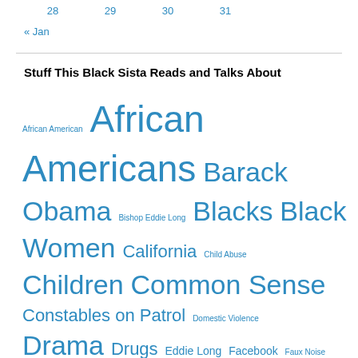28   29   30   31
« Jan
Stuff This Black Sista Reads and Talks About
African American African Americans Barack Obama Bishop Eddie Long Blacks Black Women California Child Abuse Children Common Sense Constables on Patrol Domestic Violence Drama Drugs Eddie Long Facebook Faux Noise Growing Up Latinos LGBT Los Angeles Love Madison WI Marriage Michael Jackson Mitrice Richardson Motherhood Murder Music New Birth Missionary Baptist Church New Orleans New York President Barack Obama